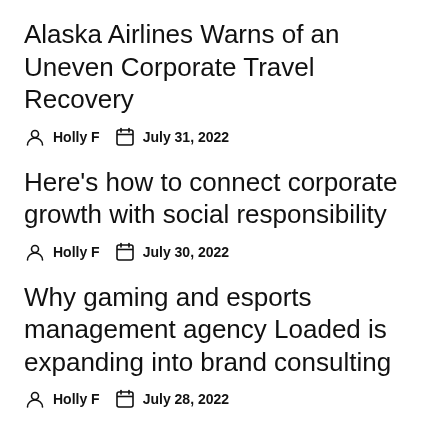Alaska Airlines Warns of an Uneven Corporate Travel Recovery
Holly F  July 31, 2022
Here's how to connect corporate growth with social responsibility
Holly F  July 30, 2022
Why gaming and esports management agency Loaded is expanding into brand consulting
Holly F  July 28, 2022